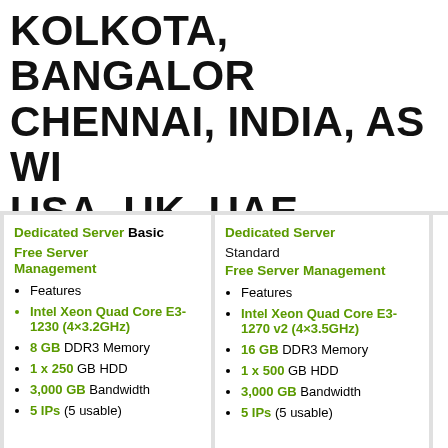KOLKOTA, BANGALORE, CHENNAI, INDIA, AS WELL USA, UK, UAE, DUBAI, ALL OVER WORLD.
Dedicated Server Basic Free Server Management
Features
Intel Xeon Quad Core E3-1230 (4×3.2GHz)
8 GB DDR3 Memory
1 x 250 GB HDD
3,000 GB Bandwidth
5 IPs (5 usable)
Dedicated Server Standard Free Server Management
Features
Intel Xeon Quad Core E3-1270 v2 (4×3.5GHz)
16 GB DDR3 Memory
1 x 500 GB HDD
3,000 GB Bandwidth
5 IPs (5 usable)
Dedicated Business Free ...
F...
D... X... (8...)
32...
2...
3,...
5...